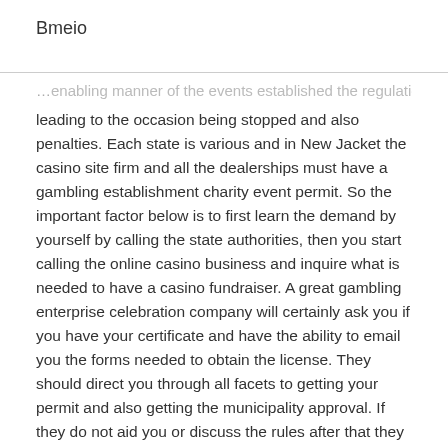Bmeio
…leading to the occasion being stopped and also penalties. Each state is various and in New Jacket the casino site firm and all the dealerships must have a gambling establishment charity event permit. So the important factor below is to first learn the demand by yourself by calling the state authorities, then you start calling the online casino business and inquire what is needed to have a casino fundraiser. A great gambling enterprise celebration company will certainly ask you if you have your certificate and have the ability to email you the forms needed to obtain the license. They should direct you through all facets to getting your permit and also getting the municipality approval. If they do not aid you or discuss the rules after that they may not recognize them which could